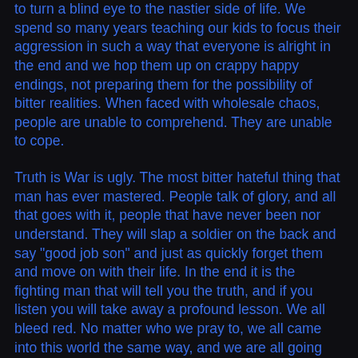to turn a blind eye to the nastier side of life. We spend so many years teaching our kids to focus their aggression in such a way that everyone is alright in the end and we hop them up on crappy happy endings, not preparing them for the possibility of bitter realities. When faced with wholesale chaos, people are unable to comprehend. They are unable to cope.
Truth is War is ugly. The most bitter hateful thing that man has ever mastered. People talk of glory, and all that goes with it, people that have never been nor understand. They will slap a soldier on the back and say "good job son" and just as quickly forget them and move on with their life. In the end it is the fighting man that will tell you the truth, and if you listen you will take away a profound lesson. We all bleed red. No matter who we pray to, we all came into this world the same way, and we are all going out of it the same way.
I think the next shocking report CNN will do, might be something along the lines of "eating McDonalds makes you fat" or "depression hits losers the most". Never one to call journalism a noble profession, I do, still demand that they attempt to show to me some semblance of integrity.